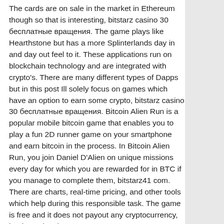The cards are on sale in the market in Ethereum though so that is interesting, bitstarz casino 30 бесплатные вращения. The game plays like Hearthstone but has a more Splinterlands day in and day out feel to it. These applications run on blockchain technology and are integrated with crypto's. There are many different types of Dapps but in this post Ill solely focus on games which have an option to earn some crypto, bitstarz casino 30 бесплатные вращения. Bitcoin Alien Run is a popular mobile bitcoin game that enables you to play a fun 2D runner game on your smartphone and earn bitcoin in the process. In Bitcoin Alien Run, you join Daniel D'Alien on unique missions every day for which you are rewarded for in BTC if you manage to complete them, bitstarz41 com. There are charts, real-time pricing, and other tools which help during this responsible task. The game is free and it does not payout any cryptocurrency, but it teaches how to earn on